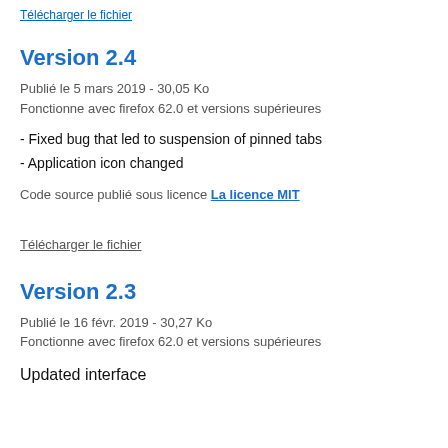Télécharger le fichier
Version 2.4
Publié le 5 mars 2019 - 30,05 Ko
Fonctionne avec firefox 62.0 et versions supérieures
- Fixed bug that led to suspension of pinned tabs
- Application icon changed
Code source publié sous licence La licence MIT
Télécharger le fichier
Version 2.3
Publié le 16 févr. 2019 - 30,27 Ko
Fonctionne avec firefox 62.0 et versions supérieures
Updated interface